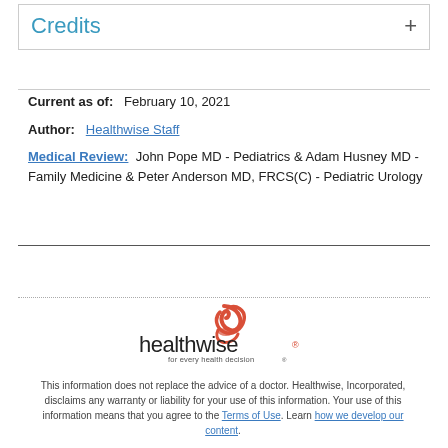Credits
Current as of:  February 10, 2021
Author:  Healthwise Staff
Medical Review:  John Pope MD - Pediatrics & Adam Husney MD - Family Medicine & Peter Anderson MD, FRCS(C) - Pediatric Urology
[Figure (logo): Healthwise logo with tagline 'for every health decision']
This information does not replace the advice of a doctor. Healthwise, Incorporated, disclaims any warranty or liability for your use of this information. Your use of this information means that you agree to the Terms of Use. Learn how we develop our content.